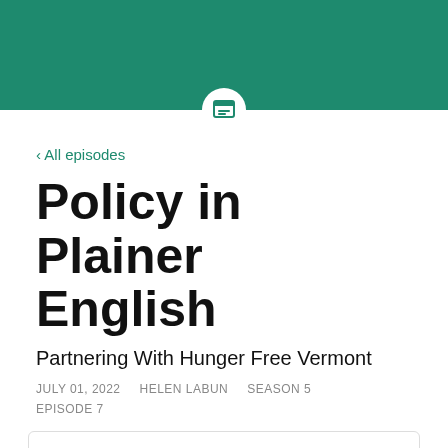[Figure (logo): Green header bar with white circular icon containing a browser/bookmark symbol]
‹ All episodes
Policy in Plainer English
Partnering With Hunger Free Vermont
JULY 01, 2022    HELEN LABUN    SEASON 5    EPISODE 7
[Figure (screenshot): Podcast player card showing Policy in Plainer English logo and episode title 'Partnering With Hu...' with audio waveform at bottom]